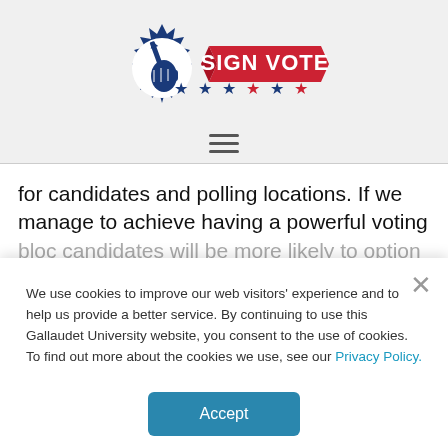[Figure (logo): Sign Vote logo: blue hand holding pen with red banner reading SIGN VOTE, six stars below alternating blue and red]
for candidates and polling locations. If we manage to achieve having a powerful voting bloc candidates will be more likely to caption
We use cookies to improve our web visitors' experience and to help us provide a better service. By continuing to use this Gallaudet University website, you consent to the use of cookies. To find out more about the cookies we use, see our Privacy Policy.
Accept